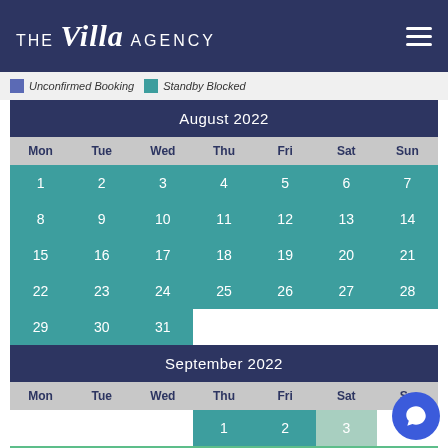[Figure (logo): The Villa Agency logo with hamburger menu icon on dark navy background]
Unconfirmed Booking   Standby Blocked
| Mon | Tue | Wed | Thu | Fri | Sat | Sun |
| --- | --- | --- | --- | --- | --- | --- |
| 1 | 2 | 3 | 4 | 5 | 6 | 7 |
| 8 | 9 | 10 | 11 | 12 | 13 | 14 |
| 15 | 16 | 17 | 18 | 19 | 20 | 21 |
| 22 | 23 | 24 | 25 | 26 | 27 | 28 |
| 29 | 30 | 31 |  |  |  |  |
| Mon | Tue | Wed | Thu | Fri | Sat | Sun |
| --- | --- | --- | --- | --- | --- | --- |
|  |  |  | 1 | 2 | 3 |  |
| 5 | 6 | 7 | 8 | 9 | 10 | 11 |